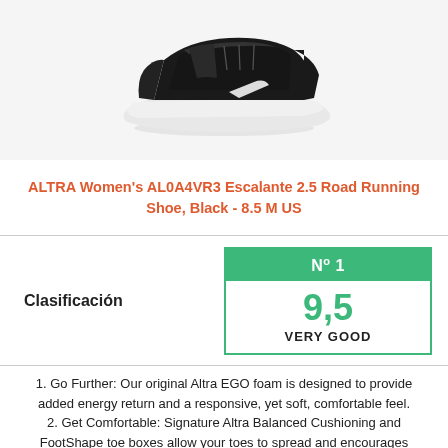[Figure (photo): Black Altra women's running shoe (Escalante 2.5) photographed from the side on a white background, with white sole.]
ALTRA Women's AL0A4VR3 Escalante 2.5 Road Running Shoe, Black - 8.5 M US
| Clasificación | Nº 1 / 9,5 VERY GOOD |
| --- | --- |
1. Go Further: Our original Altra EGO foam is designed to provide added energy return and a responsive, yet soft, comfortable feel.
2. Get Comfortable: Signature Altra Balanced Cushioning and FootShape toe boxes allow your toes to spread and encourages proper, low-impact form throughout your run.